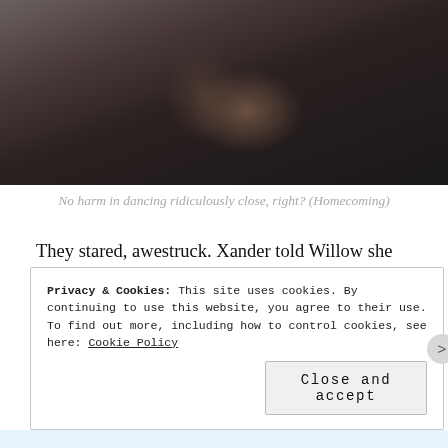[Figure (photo): A dark photograph showing two people in close proximity, one wearing a dark sleeveless top, with clasped or intertwined hands visible in center frame. Background appears to be a dimly lit interior setting.]
No harm in dancing ridiculously close, right? (Homecoming)
They stared, awestruck. Xander told Willow she was gorgeous. Awkward breathing and shifty gazes inevitably gave way to kissing. When they (finally) parted, both felt guilty but still drawn to each other.
Privacy & Cookies: This site uses cookies. By continuing to use this website, you agree to their use.
To find out more, including how to control cookies, see here: Cookie Policy
Close and accept